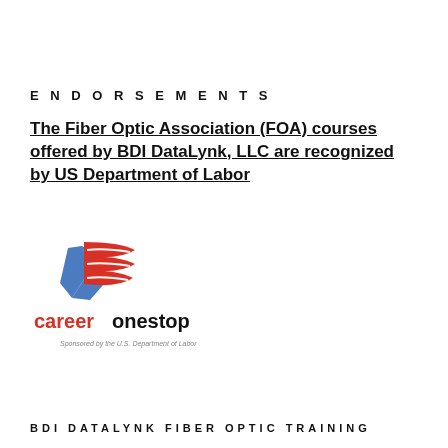ENDORSEMENTS
The Fiber Optic Association (FOA) courses offered by BDI DataLynk, LLC  are recognized by US Department of Labor
[Figure (logo): CareerOneStop logo with a red waving flag and blue star shape, text 'careeronestop' in red and black, and tagline 'Sponsored by the U.S. Department of Labor']
BDI DATALYNK FIBER OPTIC TRAINING